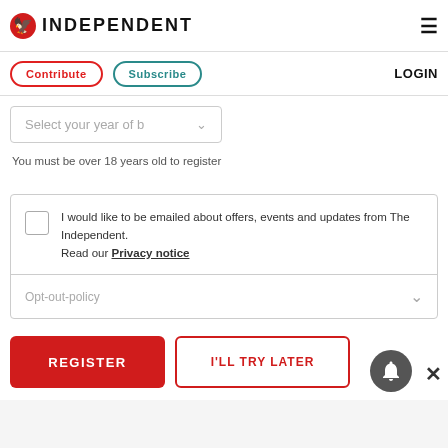INDEPENDENT
Contribute  Subscribe  LOGIN
Select your year of b
You must be over 18 years old to register
I would like to be emailed about offers, events and updates from The Independent. Read our Privacy notice
Opt-out-policy
REGISTER
I'LL TRY LATER